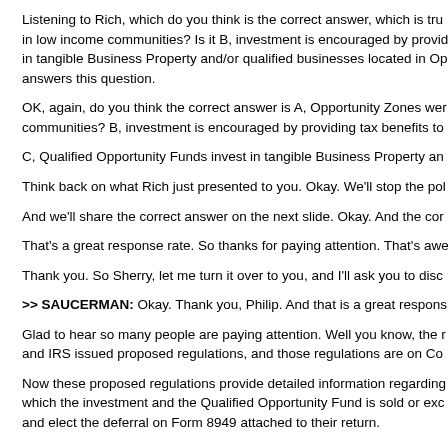Listening to Rich, which do you think is the correct answer, which is true in low income communities? Is it B, investment is encouraged by providing in tangible Business Property and/or qualified businesses located in Op answers this question.
OK, again, do you think the correct answer is A, Opportunity Zones we communities? B, investment is encouraged by providing tax benefits to
C, Qualified Opportunity Funds invest in tangible Business Property an
Think back on what Rich just presented to you. Okay. We'll stop the po
And we'll share the correct answer on the next slide. Okay. And the co
That's a great response rate. So thanks for paying attention. That's awe
Thank you. So Sherry, let me turn it over to you, and I'll ask you to disc
>> SAUCERMAN: Okay. Thank you, Philip. And that is a great response
Glad to hear so many people are paying attention. Well you know, the r and IRS issued proposed regulations, and those regulations are on Co
Now these proposed regulations provide detailed information regarding which the investment and the Qualified Opportunity Fund is sold or exc and elect the deferral on Form 8949 attached to their return.
Now, on this slide we show you how you indicate that deferral.